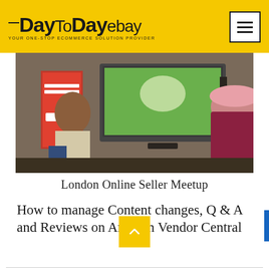DayToDay ebay — YOUR ONE-STOP ECOMMERCE SOLUTION PROVIDER
[Figure (photo): Audience members seated at a presentation, viewed from behind. A screen displays a green image. A banner reading 'Online Seller UK' and an eBay logo are visible in the background.]
London Online Seller Meetup
How to manage Content changes, Q & A and Reviews on Amazon Vendor Central